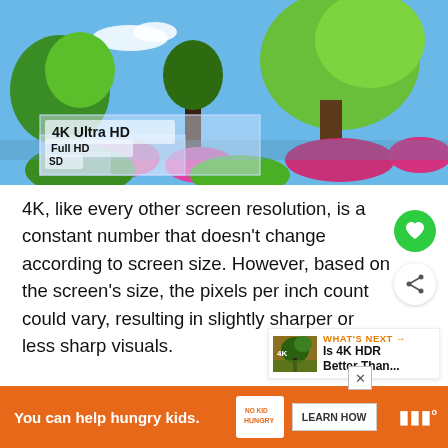[Figure (illustration): Comparison image showing 4K Ultra HD, Full HD, and SD resolution overlays on a garden scene with green trees and pink flowers against a blue sky.]
4K, like every other screen resolution, is a constant number that doesn't change according to screen size. However, based on the screen's size, the pixels per inch count could vary, resulting in slightly sharper or less sharp visuals.
[Figure (other): Favorite (heart) button - green circle with white heart icon]
[Figure (other): Share button - white circle with share icon]
[Figure (other): What's Next panel showing thumbnail and title 'Is 4K HDR Better Than...']
[Figure (other): Advertisement bar: 'You can help hungry kids.' with No Kid Hungry branding, Learn How button, and a logo on the right.]